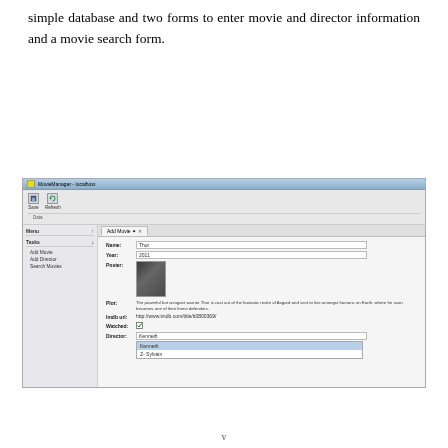simple database and two forms to enter movie and director information and a movie search form.
[Figure (screenshot): Screenshot of MovieManager localhost application showing Add Movie form with fields: Name (Thor), Year (2011), Poster (image of Thor), Plot (description text), Imdb url, Watched checkbox, Director (Kenneth with dropdown showing Kenneth, Z-Sylvain)]
v